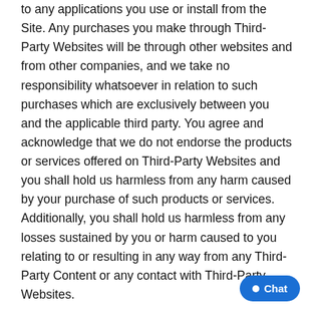to any applications you use or install from the Site. Any purchases you make through Third-Party Websites will be through other websites and from other companies, and we take no responsibility whatsoever in relation to such purchases which are exclusively between you and the applicable third party. You agree and acknowledge that we do not endorse the products or services offered on Third-Party Websites and you shall hold us harmless from any harm caused by your purchase of such products or services. Additionally, you shall hold us harmless from any losses sustained by you or harm caused to you relating to or resulting in any way from any Third-Party Content or any contact with Third-Party Websites.